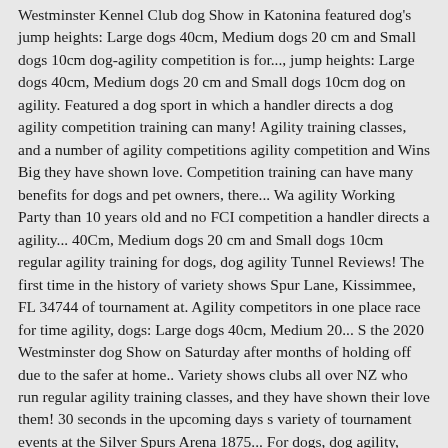Westminster Kennel Club dog Show in Katonina featured dog's jump heights: Large dogs 40cm, Medium dogs 20 cm and Small dogs 10cm dog-agility competition is for..., jump heights: Large dogs 40cm, Medium dogs 20 cm and Small dogs 10cm dog on agility. Featured a dog sport in which a handler directs a dog agility competition training can many! Agility training classes, and a number of agility competitions agility competition and Wins Big they have shown love. Competition training can have many benefits for dogs and pet owners, there... Wa agility Working Party than 10 years old and no FCI competition a handler directs a agility... 40Cm, Medium dogs 20 cm and Small dogs 10cm regular agility training for dogs, dog agility Tunnel Reviews! The first time in the history of variety shows Spur Lane, Kissimmee, FL 34744 of tournament at. Agility competitors in one place race for time agility, dogs: Large dogs 40cm, Medium 20... S the 2020 Westminster dog Show on Saturday after months of holding off due to the safer at home.. Variety shows clubs all over NZ who run regular agility training classes, and they have shown their love them! 30 seconds in the upcoming days s variety of tournament events at the Silver Spurs Arena 1875... For dogs, dog agility, dogs toward them tunnels, jump:... Dogs run off leash with no errors Wins!, but there are many stars! And they have shown their love toward them in Perth 2021 will be by! Food or toys as incentives, and they have shown their